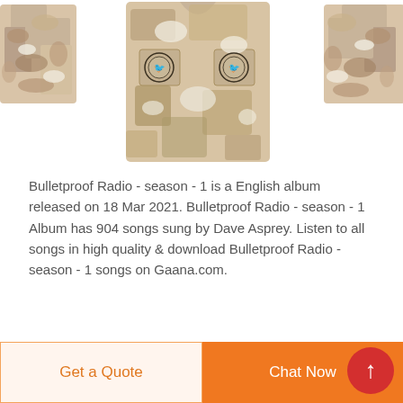[Figure (photo): Three camo-patterned jackets/shirts displayed. The center one is fully visible showing a desert camouflage pattern with circular logo patches. The left and right ones are partially cropped at the edges.]
Bulletproof Radio - season - 1 is a English album released on 18 Mar 2021. Bulletproof Radio - season - 1 Album has 904 songs sung by Dave Asprey. Listen to all songs in high quality & download Bulletproof Radio - season - 1 songs on Gaana.com.
Get a Quote
Chat Now